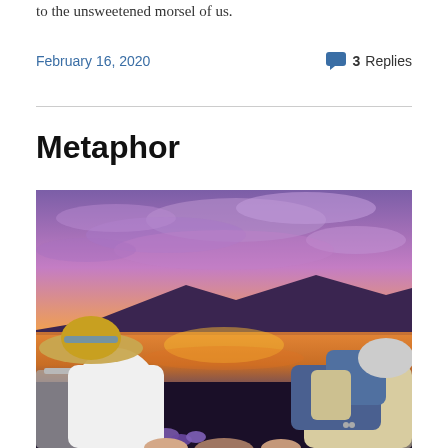to the unsweetened morsel of us.
February 16, 2020    💬 3 Replies
Metaphor
[Figure (photo): Two people sitting in folding chairs from behind, holding hands, watching a vivid orange and purple sunset over a lake with mountains in the background. One person wears a straw hat and white long-sleeve top; the other has grey/white hair and a beige jacket, wearing jeans. Purple iris flowers are visible at the bottom.]